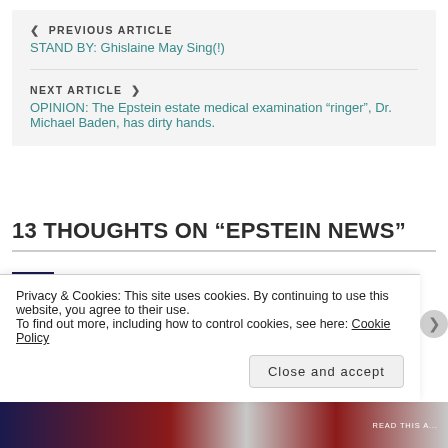< PREVIOUS ARTICLE
STAND BY: Ghislaine May Sing(!)
NEXT ARTICLE >
OPINION: The Epstein estate medical examination "ringer", Dr. Michael Baden, has dirty hands.
13 THOUGHTS ON “EPSTEIN NEWS”
FLYINGCUTTLEFISH
Privacy & Cookies: This site uses cookies. By continuing to use this website, you agree to their use.
To find out more, including how to control cookies, see here: Cookie Policy
Close and accept